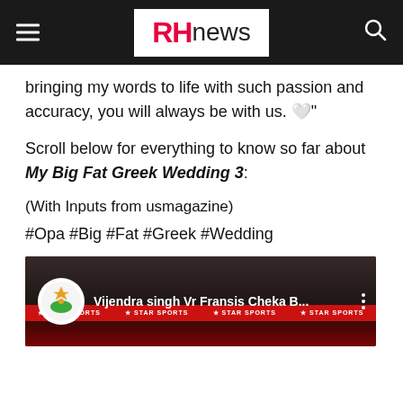RHnews
bringing my words to life with such passion and accuracy, you will always be with us. 🤍"
Scroll below for everything to know so far about My Big Fat Greek Wedding 3:
(With Inputs from usmagazine)
#Opa #Big #Fat #Greek #Wedding
[Figure (screenshot): Video thumbnail showing 'Vijendra singh Vr Fransis Cheka B...' with a channel logo and three-dot menu icon on a dark background with a red Star Sports banner bar.]